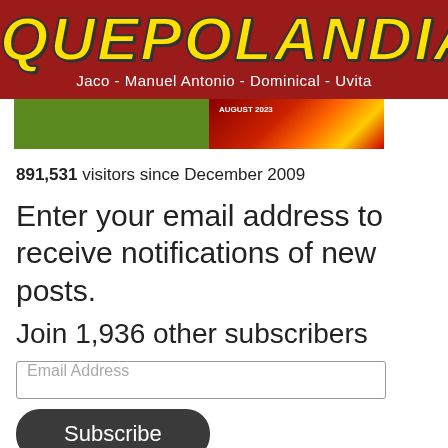[Figure (logo): Quepolandia logo banner with yellow bold italic text on dark red background. Subtitle reads: Jaco - Manuel Antonio - Dominical - Uvita]
[Figure (photo): Partial magazine covers visible below the header banner — green cover on left, red/orange abstract design on right with August 2023 text]
891,531 visitors since December 2009
Enter your email address to receive notifications of new posts.
Join 1,936 other subscribers
Email Address
Subscribe
[Figure (infographic): Find us on facebook banner with Facebook logo on the left and text 'Find us on facebook' in blue on checkered background with blue border]